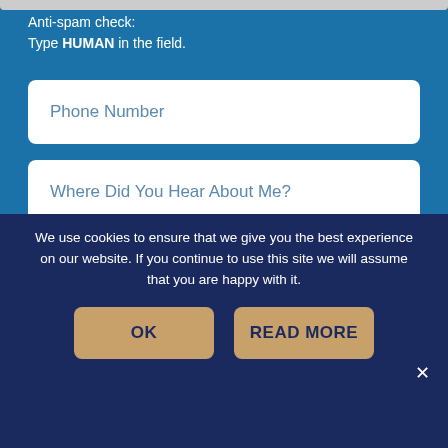Anti-spam check:
Type HUMAN in the field.
Phone Number
Where Did You Hear About Me?
Would You Like To Hear More About My Prog
Type HUMAN here
SUBSCRIBE
We use cookies to ensure that we give you the best experience on our website. If you continue to use this site we will assume that you are happy with it.
OK
READ MORE